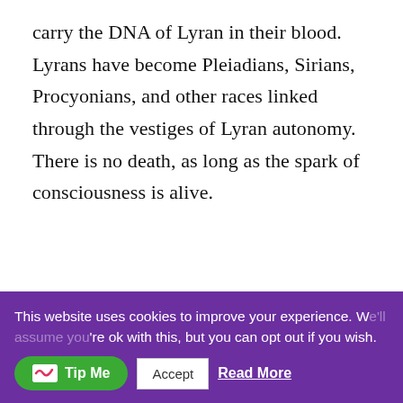carry the DNA of Lyran in their blood. Lyrans have become Pleiadians, Sirians, Procyonians, and other races linked through the vestiges of Lyran autonomy. There is no death, as long as the spark of consciousness is alive.
The time of transformation has begun and the human species is in flux. #changingaddress #ninespath
CLICK TO TWEET
This website uses cookies to improve your experience. We'll assume you're ok with this, but you can opt out if you wish.
Tip Me
Accept
Read More